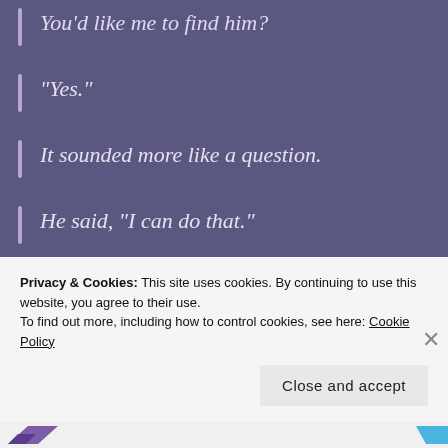You'd like me to find him?
“Yes.”
It sounded more like a question.
He said, “I can do that.”
“My son is a sweet boy. He likes art—painting. If something’s happened to him, I’m not sure what I’d do.”
Privacy & Cookies: This site uses cookies. By continuing to use this website, you agree to their use.
To find out more, including how to control cookies, see here: Cookie Policy
Close and accept